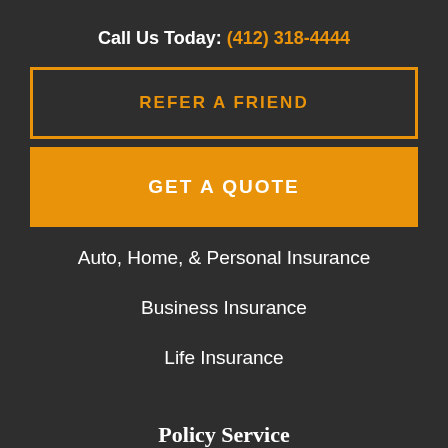Call Us Today: (412) 318-4444
REFER A FRIEND
GET A QUOTE
Auto, Home, & Personal Insurance
Business Insurance
Life Insurance
Policy Service